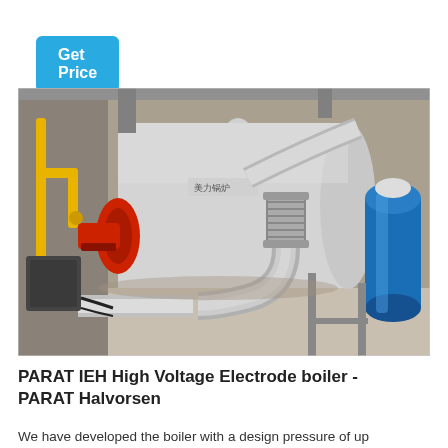Get Price
[Figure (photo): Industrial boiler installation in a factory setting. A large cylindrical boiler with Chinese text markings is visible in the center, fitted with a red burner on the left side and extensive silver stainless steel exhaust/pipe work including a flexible bellows connector. Yellow gas pipes run along the left wall. A blue pressure tank is visible on the right. The floor is concrete and the space is an industrial hall.]
PARAT IEH High Voltage Electrode boiler - PARAT Halvorsen
We have developed the boiler with a design pressure of up